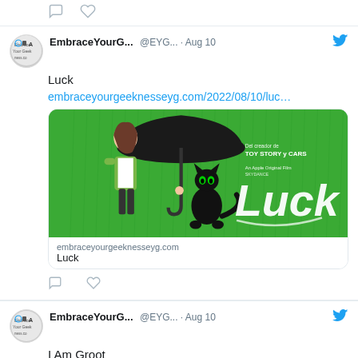[Figure (screenshot): Top partial tweet with comment/heart icons visible at top]
EmbraceYourG... @EYG... · Aug 10
Luck
embraceyourgeeknesseyg.com/2022/08/10/luc…
[Figure (photo): Movie poster for Luck (Apple Original Film) showing animated girl and black cat under umbrella in green rain scene. Text: Del creador de TOY STORY y CARS, An Apple Original Film, SKYDANCE, Luck]
embraceyourgeeknesseyg.com
Luck
EmbraceYourG... @EYG... · Aug 10
I Am Groot